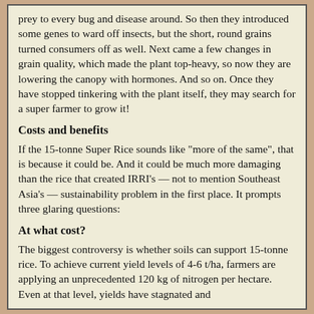prey to every bug and disease around. So then they introduced some genes to ward off insects, but the short, round grains turned consumers off as well. Next came a few changes in grain quality, which made the plant top-heavy, so now they are lowering the canopy with hormones. And so on. Once they have stopped tinkering with the plant itself, they may search for a super farmer to grow it!
Costs and benefits
If the 15-tonne Super Rice sounds like "more of the same", that is because it could be. And it could be much more damaging than the rice that created IRRI's — not to mention Southeast Asia's — sustainability problem in the first place. It prompts three glaring questions:
At what cost?
The biggest controversy is whether soils can support 15-tonne rice. To achieve current yield levels of 4-6 t/ha, farmers are applying an unprecedented 120 kg of nitrogen per hectare. Even at that level, yields have stagnated and